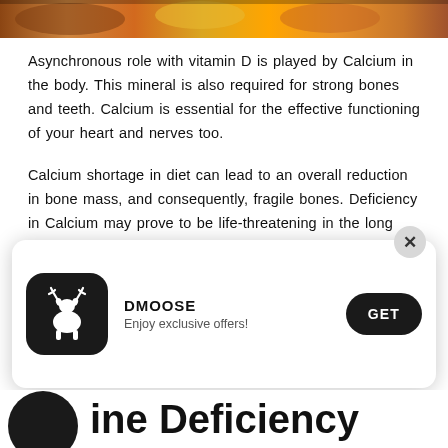[Figure (photo): Partial top image showing food items including mushrooms and orange/yellow produce]
Asynchronous role with vitamin D is played by Calcium in the body. This mineral is also required for strong bones and teeth. Calcium is essential for the effective functioning of your heart and nerves too.
Calcium shortage in diet can lead to an overall reduction in bone mass, and consequently, fragile bones. Deficiency in Calcium may prove to be life-threatening in the long term as the patient may suffer from convulsions and abnormal heart rhythms.
Calcium-rich sources include dairy products, small fi
[Figure (screenshot): DMOOSE app promotional popup with logo, brand name DMOOSE, tagline 'Enjoy exclusive offers!' and GET button, with close X button]
ine Deficiency